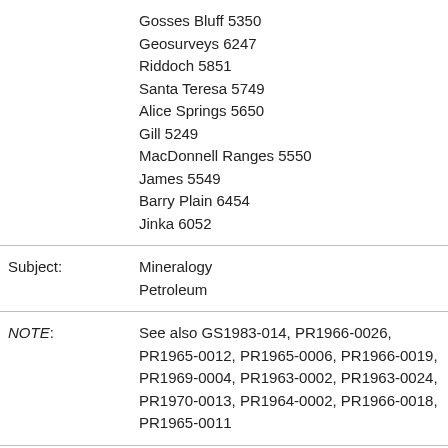Gosses Bluff 5350
Geosurveys 6247
Riddoch 5851
Santa Teresa 5749
Alice Springs 5650
Gill 5249
MacDonnell Ranges 5550
James 5549
Barry Plain 6454
Jinka 6052
Subject: Mineralogy
Petroleum
NOTE: See also GS1983-014, PR1966-0026, PR1965-0012, PR1965-0006, PR1966-0019, PR1969-0004, PR1963-0002, PR1963-0024, PR1970-0013, PR1964-0002, PR1966-0018, PR1965-0011
Document Core Analysis